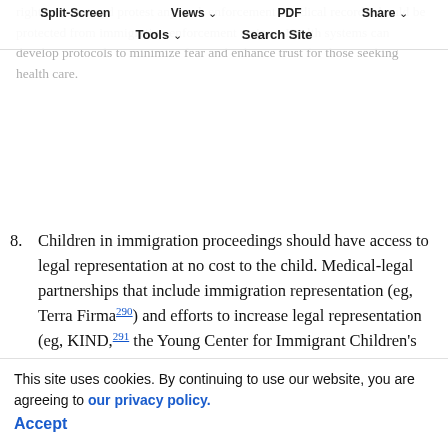Split-Screen | Views | PDF | Share | Tools | Search Site
right to report and protest any such enforcement. Medical records should be protected from immigration enforcement actions. Health systems can develop protocols to minimize fear and enhance trust for those seeking health care.
8. Children in immigration proceedings should have access to legal representation at no cost to the child. Medical-legal partnerships that include immigration representation (eg, Terra Firma[290]) and efforts to increase legal representation (eg, KIND,[291] the Young Center for Immigrant Children's Rights,[292] RAICES[293]) should be supported practically and financially at local, state, and federal levels.
9. Immigration policy that prioritizes children and families by ensuring access to health care and educational and economic supports, by keeping families together, and by protecting vulnerable children...
This site uses cookies. By continuing to use our website, you are agreeing to our privacy policy. Accept